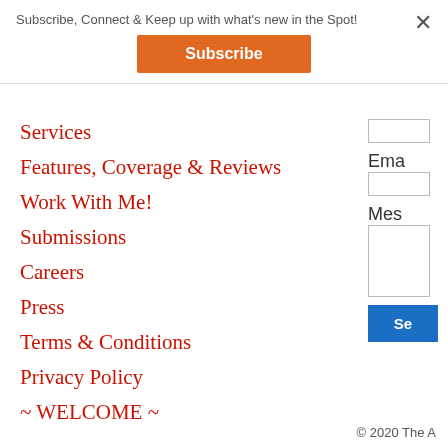Subscribe, Connect & Keep up with what's new in the Spot!
Subscribe
×
Services
Features, Coverage & Reviews
Work With Me!
Submissions
Careers
Press
Terms & Conditions
Privacy Policy
~ WELCOME ~
Ema
Mes
Se
© 2020 The A